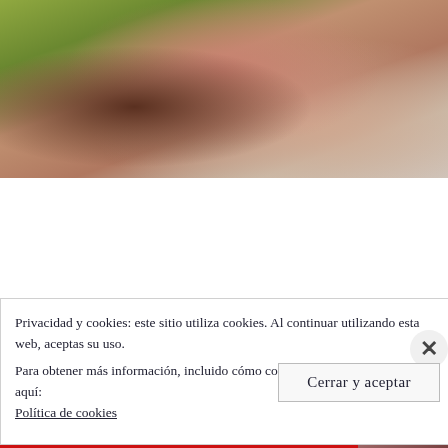[Figure (photo): Partial photo of people outdoors. Visible elements include a person in a pink/mauve outfit with dark arms/hands visible, against a green leafy background and light grey road/pavement.]
Privacidad y cookies: este sitio utiliza cookies. Al continuar utilizando esta web, aceptas su uso.
Para obtener más información, incluido cómo controlar las cookies, consulta aquí:
Política de cookies
Cerrar y aceptar
[Figure (photo): Partial bottom thumbnail image with red overlay bar and white uppercase text reading 'INFIDÈLES SOBRE LES ANNÉES...']